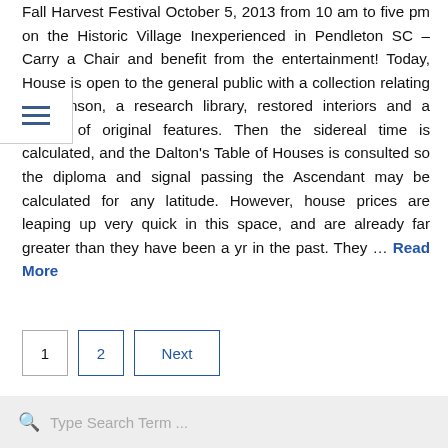Fall Harvest Festival October 5, 2013 from 10 am to five pm on the Historic Village Inexperienced in Pendleton SC – Carry a Chair and benefit from the entertainment! Today, House is open to the general public with a collection relating to Johnson, a research library, restored interiors and a wealth of original features. Then the sidereal time is calculated, and the Dalton's Table of Houses is consulted so the diploma and signal passing the Ascendant may be calculated for any latitude. However, house prices are leaping up very quick in this space, and are already far greater than they have been a yr in the past. They … Read More
1
2
Next
Type Search Term ...